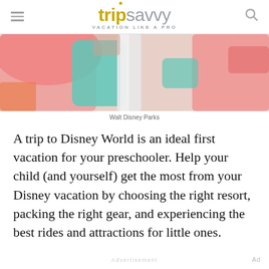trip savvy — VACATION LIKE A PRO
[Figure (photo): Colorful waterslides or playground equipment in pink, teal/green, and white colors, associated with Walt Disney Parks]
Walt Disney Parks
A trip to Disney World is an ideal first vacation for your preschooler. Help your child (and yourself) get the most from your Disney vacation by choosing the right resort, packing the right gear, and experiencing the best rides and attractions for little ones.